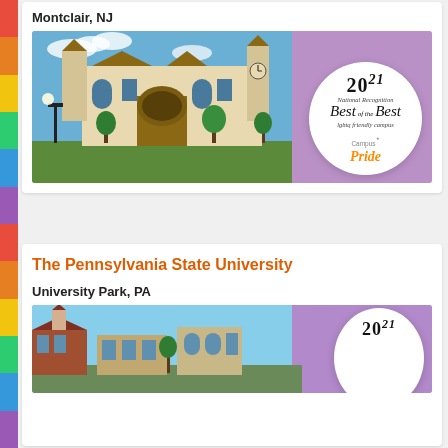Montclair, NJ
[Figure (photo): University building photo with Campus Pride Best of the Best 2021 badge overlay, Montclair State University]
The Pennsylvania State University
University Park, PA
[Figure (photo): Penn State university campus building photo with 2021 badge overlay, partially cropped]